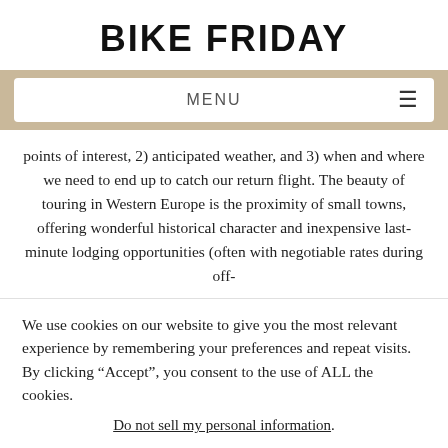BIKE FRIDAY
MENU
points of interest, 2) anticipated weather, and 3) when and where we need to end up to catch our return flight. The beauty of touring in Western Europe is the proximity of small towns, offering wonderful historical character and inexpensive last-minute lodging opportunities (often with negotiable rates during off-
We use cookies on our website to give you the most relevant experience by remembering your preferences and repeat visits. By clicking “Accept”, you consent to the use of ALL the cookies. Do not sell my personal information.
Cookie Settings
Accept